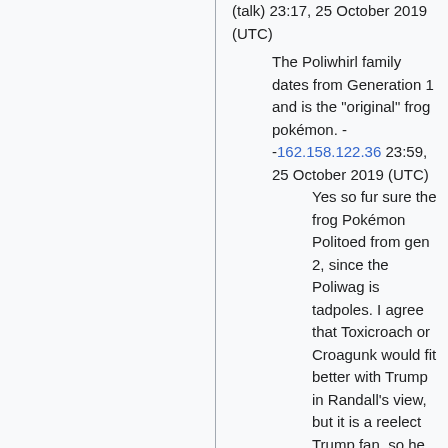(talk) 23:17, 25 October 2019 (UTC)
The Poliwhirl family dates from Generation 1 and is the "original" frog pokémon. - -162.158.122.36 23:59, 25 October 2019 (UTC)
Yes so fur sure the frog Pokémon Politoed from gen 2, since the Poliwag is tadpoles. I agree that Toxicroach or Croagunk would fit better with Trump in Randall's view, but it is a reelect Trump fan, so he would most likely use a